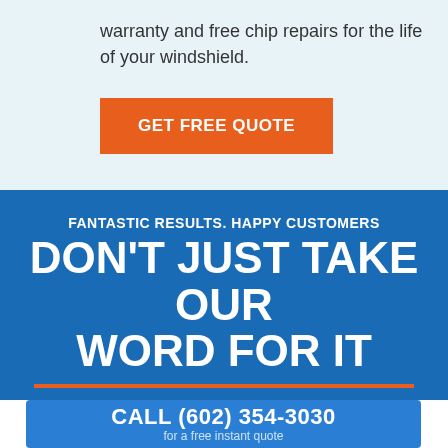warranty and free chip repairs for the life of your windshield.
GET FREE QUOTE
FANTASTIC RESULTS. HAPPY CUSTOMERS
DON'T JUST TAKE OUR WORD FOR IT
CALL (602) 354-3030
for a free instant quote